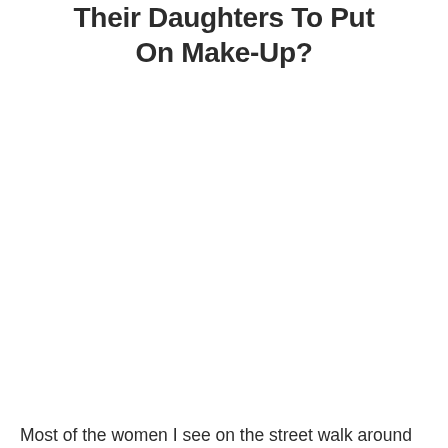Their Daughters To Put On Make-Up?
Most of the women I see on the street walk around